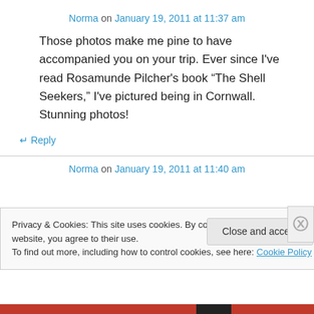Norma on January 19, 2011 at 11:37 am
Those photos make me pine to have accompanied you on your trip. Ever since I've read Rosamunde Pilcher's book “The Shell Seekers,” I've pictured being in Cornwall. Stunning photos!
↵ Reply
Norma on January 19, 2011 at 11:40 am
Privacy & Cookies: This site uses cookies. By continuing to use this website, you agree to their use.
To find out more, including how to control cookies, see here: Cookie Policy
Close and accept